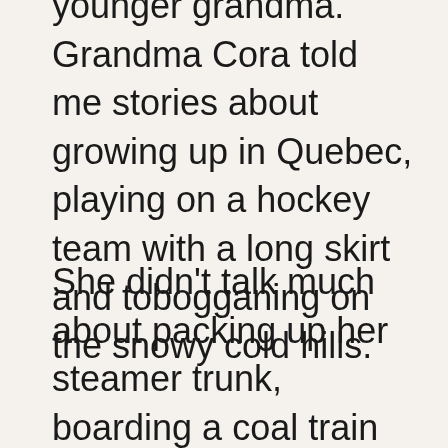younger grandma. Grandma Cora told me stories about growing up in Quebec, playing on a hockey team with a long skirt and tobogganing on the snowy cold hills.
She didn't talk much about packing up her steamer trunk, boarding a coal train and heading out west at 19 years of age to teach school in the prairies so she could decide if her love for my grandpa would last